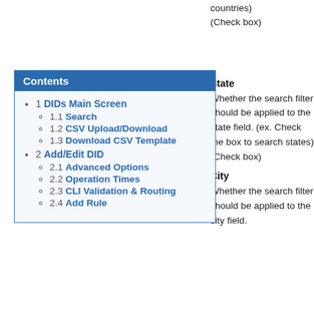countries)
(Check box)
State
Whether the search filter should be applied to the state field. (ex. Check the box to search states)
(Check box)
City
Whether the search filter should be applied to the city field.
| Contents |
| --- |
| 1 DIDs Main Screen |
| 1.1 Search |
| 1.2 CSV Upload/Download |
| 1.3 Download CSV Template |
| 2 Add/Edit DID |
| 2.1 Advanced Options |
| 2.2 Operation Times |
| 2.3 CLI Validation & Routing |
| 2.4 Add Rule |